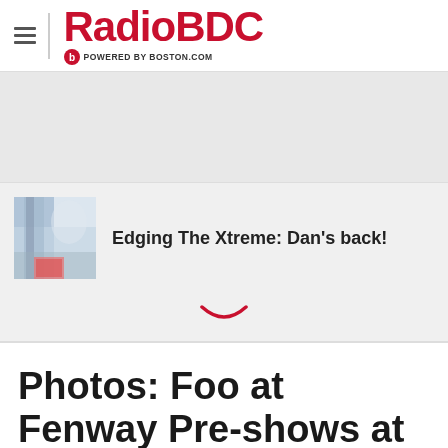RadioBDC POWERED BY BOSTON.COM
[Figure (photo): Thumbnail image showing snow/winter scene]
Edging The Xtreme: Dan’s back!
Photos: Foo at Fenway Pre-shows at Bill’s Bar
[Figure (photo): Bottom strip photo partially visible]